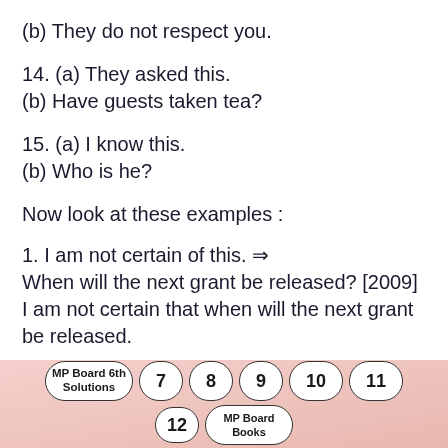(b) They do not respect you.
14. (a) They asked this.
(b) Have guests taken tea?
15. (a) I know this.
(b) Who is he?
Now look at these examples :
1. I am not certain of this. ⇒
When will the next grant be released? [2009]
I am not certain that when will the next grant be released.
MP Board 6th Solutions  7  8  9  10  11  12  MP Board Books